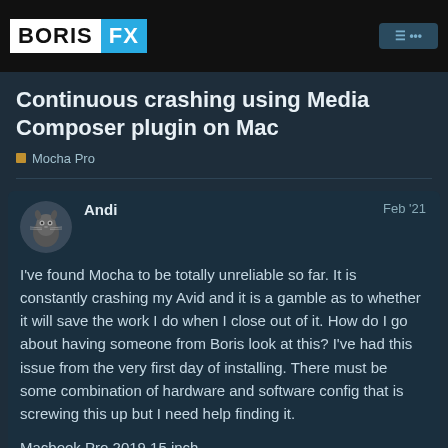BORIS FX
Continuous crashing using Media Composer plugin on Mac
Mocha Pro
Andi  Feb '21
I've found Mocha to be totally unreliable so far. It is constantly crashing my Avid and it is a gamble as to whether it will save the work I do when I close out of it. How do I go about having someone from Boris look at this? I've had this issue from the very first day of installing. There must be some combination of hardware and software config that is screwing this up but I need help finding it.
Macbook Pro 2019 15 inch
2.4GHz Core i9
32GB 3400 DDR4
1 / 23